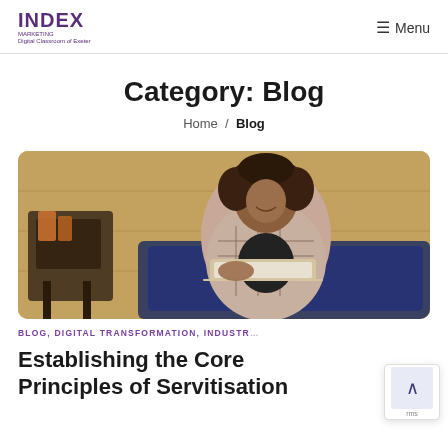INDEX | Menu
Category: Blog
Home / Blog
[Figure (photo): A woman with curly hair sitting on a blue sofa, smiling and looking at a laptop, in a café-style interior with warm wood paneling.]
BLOG, DIGITAL TRANSFORMATION, INDUSTR…
Establishing the Core Principles of Servitisation